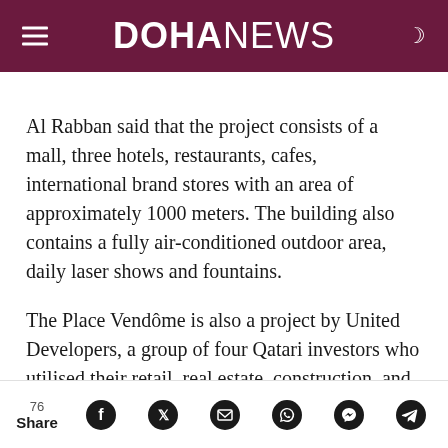DOHANEWS
Al Rabban said that the project consists of a mall, three hotels, restaurants, cafes, international brand stores with an area of approximately 1000 meters. The building also contains a fully air-conditioned outdoor area, daily laser shows and fountains.
The Place Vendôme is also a project by United Developers, a group of four Qatari investors who utilised their retail, real estate, construction, and
76 Share